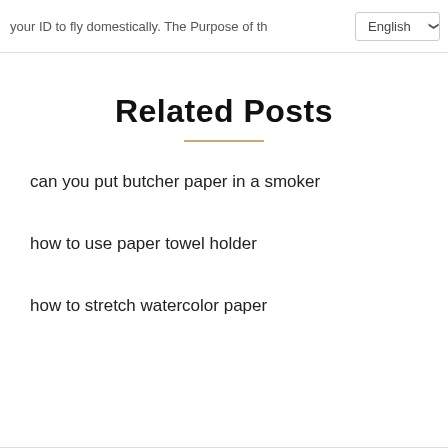your ID to fly domestically. The Purpose of the ... English
Related Posts
can you put butcher paper in a smoker
how to use paper towel holder
how to stretch watercolor paper